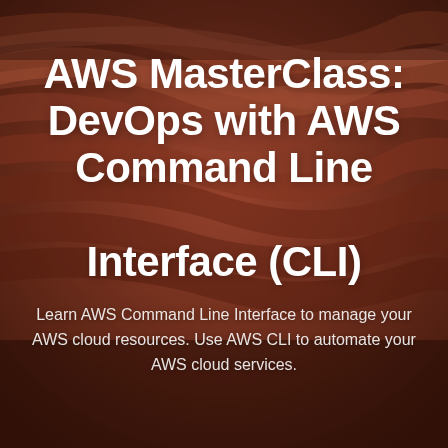[Figure (photo): Background photo of red/terracotta sandstone canyon rock formations with swirling layered patterns]
AWS MasterClass: DevOps with AWS Command Line Interface (CLI)
Learn AWS Command Line Interface to manage your AWS cloud resources. Use AWS CLI to automate your AWS cloud services.